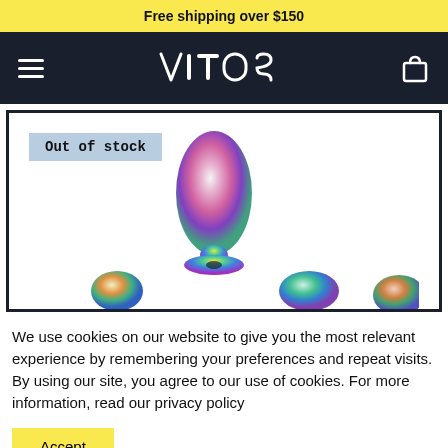Free shipping over $150
[Figure (logo): VITOS brand logo in white outline font on dark navy background, with hamburger menu icon on left and shopping bag icon on right]
[Figure (photo): Rainbow/iridescent metallic butt plug product shown on white background with 'Out of stock' badge in upper left. Several smaller same-style items visible at the bottom.]
We use cookies on our website to give you the most relevant experience by remembering your preferences and repeat visits. By using our site, you agree to our use of cookies. For more information, read our privacy policy
Accept